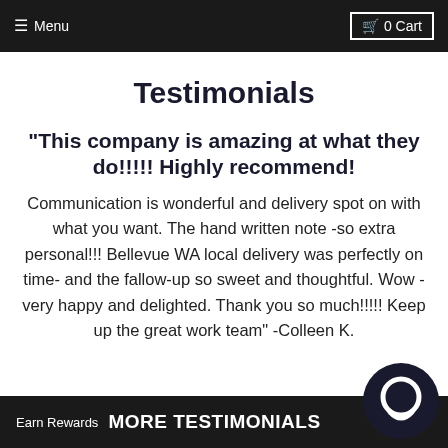≡ Menu  🛒 0 Cart
Testimonials
"This company is amazing at what they do!!!!! Highly recommend!
Communication is wonderful and delivery spot on with what you want. The hand written note -so extra personal!!! Bellevue WA local delivery was perfectly on time- and the fallow-up so sweet and thoughtful. Wow -very happy and delighted. Thank you so much!!!!! Keep up the great work team" -Colleen K.
Earn Rewards  MORE TESTIMONIALS